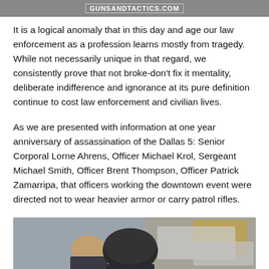GUNSANDTACTICS.COM
It is a logical anomaly that in this day and age our law enforcement as a profession learns mostly from tragedy. While not necessarily unique in that regard, we consistently prove that not broke-don't fix it mentality, deliberate indifference and ignorance at its pure definition continue to cost law enforcement and civilian lives.
As we are presented with information at one year anniversary of assassination of the Dallas 5: Senior Corporal Lorne Ahrens, Officer Michael Krol, Sergeant Michael Smith, Officer Brent Thompson, Officer Patrick Zamarripa, that officers working the downtown event were directed not to wear heavier armor or carry patrol rifles.
[Figure (photo): Two law enforcement officers seen from behind, one wearing a black tactical helmet, in an outdoor scene with blurred vehicles and surroundings in the background.]